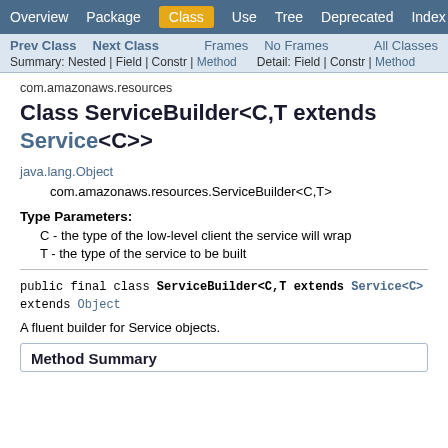Overview  Package  Class  Use  Tree  Deprecated  Index  Help
Prev Class  Next Class  Frames  No Frames  All Classes
Summary: Nested | Field | Constr | Method    Detail: Field | Constr | Method
com.amazonaws.resources
Class ServiceBuilder<C,T extends Service<C>>
java.lang.Object
    com.amazonaws.resources.ServiceBuilder<C,T>
Type Parameters:
C - the type of the low-level client the service will wrap
T - the type of the service to be built
public final class ServiceBuilder<C,T extends Service<C>> extends Object
A fluent builder for Service objects.
Method Summary